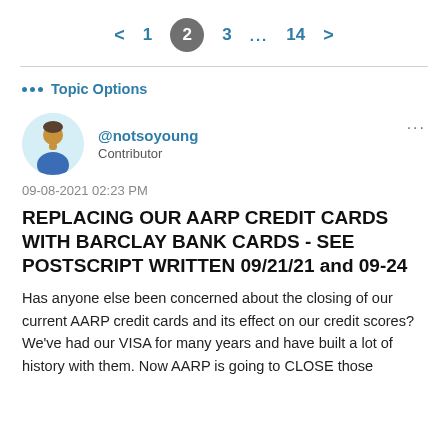< 1 2 3 ... 14 >
••• Topic Options
[Figure (illustration): User avatar: generic person silhouette with brown face and blue shirt, on light blue circular background]
@notsoyoung
Contributor
09-08-2021 02:23 PM
REPLACING OUR AARP CREDIT CARDS WITH BARCLAY BANK CARDS - SEE POSTSCRIPT WRITTEN 09/21/21 and 09-24
Has anyone else been concerned about the closing of our current AARP credit cards and its effect on our credit scores? We've had our VISA for many years and have built a lot of history with them. Now AARP is going to CLOSE those